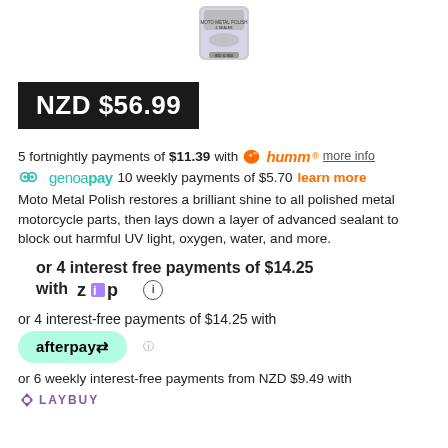[Figure (photo): Product image of Moto Metal Polish container]
NZD $56.99
5 fortnightly payments of $11.39 with humm® more info
genoapay 10 weekly payments of $5.70 learn more
Moto Metal Polish restores a brilliant shine to all polished metal motorcycle parts, then lays down a layer of advanced sealant to block out harmful UV light, oxygen, water, and more.
or 4 interest free payments of $14.25 with Zip ⓘ
or 4 interest-free payments of $14.25 with afterpay ⓘ
or 6 weekly interest-free payments from NZD $9.49 with LAYBUY